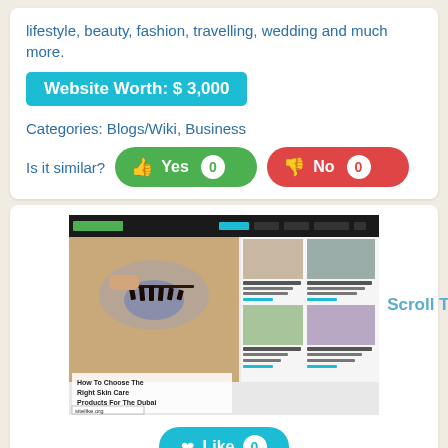lifestyle, beauty, fashion, travelling, wedding and much more.
Website Worth: $ 3,000
Categories: Blogs/Wiki, Business
Is it similar?  Yes 0  No 0
[Figure (screenshot): Screenshot of a beauty/lifestyle blog website showing articles about skin care, with a sitelike.org watermark. Text 'Scroll Top' appears to the right.]
Like 0